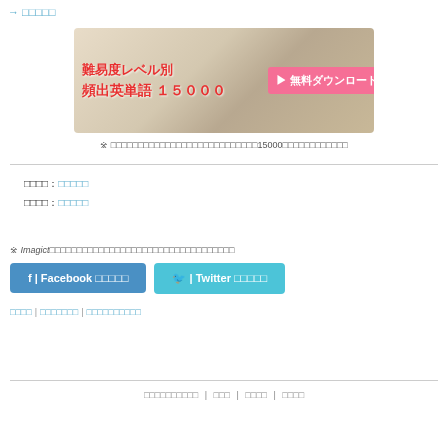→ □□□□□
[Figure (illustration): Banner image for Japanese vocabulary download: 難易度レベル別 頻出英単語 15000 ▶ 無料ダウンロード (Difficulty level-based frequently appearing English words 15000, free download), with book/text background]
※ □□□□□□□□□□□□□□□□□□□□□□□□□□□15000□□□□□□□□□□□□
□□□□: □□□□□
□□□□: □□□□□
※ Imagict□□□□□□□□□□□□□□□□□□□□□□□□□□□□□□□□□□
f | Facebook □□□□□
🐦 | Twitter □□□□□
□□□□ | □□□□□□□ | □□□□□□□□□□
□□□□□□□□□□ | □□□ | □□□□ | □□□□